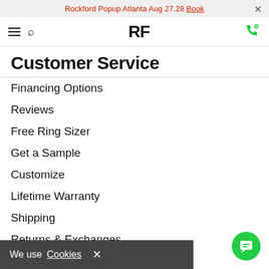Rockford Popup Atlanta Aug 27.28 Book ×
RF (logo, hamburger menu, search, phone icons)
Customer Service
Financing Options
Reviews
Free Ring Sizer
Get a Sample
Customize
Lifetime Warranty
Shipping
Returns & Exchanges
Resizing & Repairs
Order Tracking
We use Cookies ×